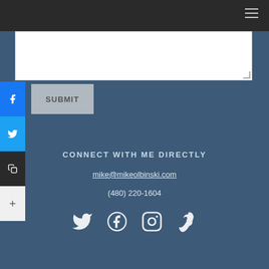[Figure (screenshot): Dark top navigation bar with hamburger menu icon on the right]
[Figure (screenshot): White textarea input box for message entry]
[Figure (screenshot): Social share sidebar with Facebook (blue), Twitter (light blue), Copy (dark), and Plus (light) buttons on the left side; gray SUBMIT button]
CONNECT WITH ME DIRECTLY
mike@mikeolbinski.com
(480) 220-1604
[Figure (screenshot): Social media icons row: Twitter bird, Facebook f, Instagram camera, Vimeo V]